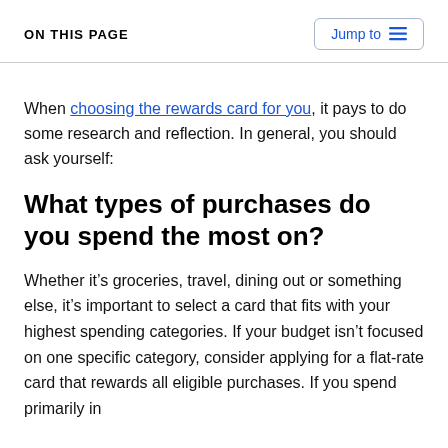ON THIS PAGE
When choosing the rewards card for you, it pays to do some research and reflection. In general, you should ask yourself:
What types of purchases do you spend the most on?
Whether it’s groceries, travel, dining out or something else, it’s important to select a card that fits with your highest spending categories. If your budget isn’t focused on one specific category, consider applying for a flat-rate card that rewards all eligible purchases. If you spend primarily in